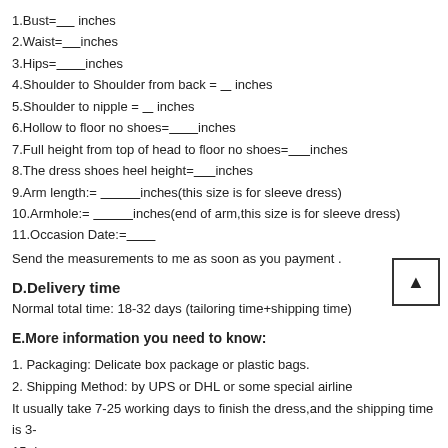1.Bust=_____ inches
2.Waist=_____ inches
3.Hips=________ inches
4.Shoulder to Shoulder from back = ___ inches
5.Shoulder to nipple = ___ inches
6.Hollow to floor no shoes=________ inches
7.Full height from top of head to floor no shoes=______inches
8.The dress shoes heel height=______inches
9.Arm length:= ___________ inches(this size is for sleeve dress)
10.Armhole:= ___________ inches(end of arm,this size is for sleeve dress)
11.Occasion Date:=_________
Send the measurements to me as soon as you payment .
D.Delivery time
Normal total time: 18-32 days (tailoring time+shipping time)
E.More information you need to know:
1. Packaging: Delicate box package or plastic bags.
2. Shipping Method: by UPS or DHL or some special airline
It usually take 7-25 working days to finish the dress,and the shipping time is 3-15 days.